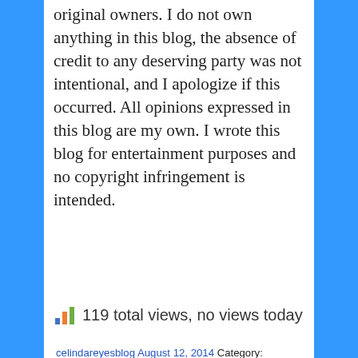original owners. I do not own anything in this blog, the absence of credit to any deserving party was not intentional, and I apologize if this occurred. All opinions expressed in this blog are my own. I wrote this blog for entertainment purposes and no copyright infringement is intended.
119 total views, no views today
celindareyesblog August 12, 2014 Category: Monday Memos. Tagged: 5 seconds of summer, abc, abc family, and Law & Order: Special Victims Unit, ansel elgort, ariana grande, Barney & Friends, Becky G, bethany mota, billboard, Borden's, Candie's, Cher Lloyd, Curb Your Enthusiasm, demi lovato, disney channel, divergent, EMA, Goosebumps, Hollywood Records, hot chelle rae, jason derulo, jennifer lopez, john green, josh hutcherson, K-Mart, Keeping Up With The Kardashians, Kiss & Tell, Lucy Hale,